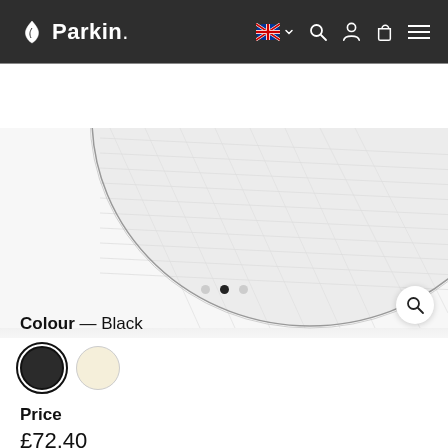Parkin. [navigation bar with UK flag, search, account, cart, menu icons]
[Figure (photo): Product image area showing a large circular dark sinamay fascinator/hat base, partially cropped, light grey background. Zoom/magnify button in bottom-right corner.]
Colour — Black
[Figure (other): Two colour swatches: black (selected, with ring outline) and cream/ivory]
Price
£72.40